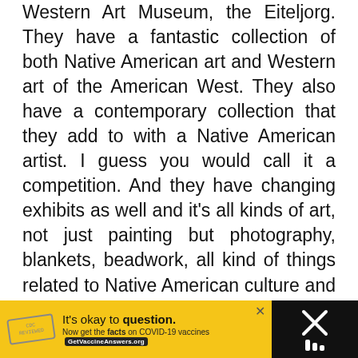Western Art Museum, the Eiteljorg. They have a fantastic collection of both Native American art and Western art of the American West. They also have a contemporary collection that they add to with a Native American artist. I guess you would call it a competition. And they have changing exhibits as well and it's all kinds of art, not just painting but photography, blankets, beadwork, all kind of things related to Native American culture and the American west.
ADVERTISEMENT
[Figure (screenshot): What's Next card with Barcelona travel thumbnail]
[Figure (infographic): Bottom advertisement banner: It's okay to question. Now get the facts on COVID-19 vaccines. GetVaccineAnswers.org]